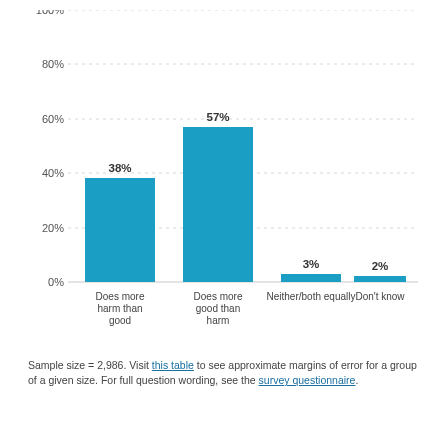[Figure (bar-chart): ]
Sample size = 2,986. Visit this table to see approximate margins of error for a group of a given size. For full question wording, see the survey questionnaire.